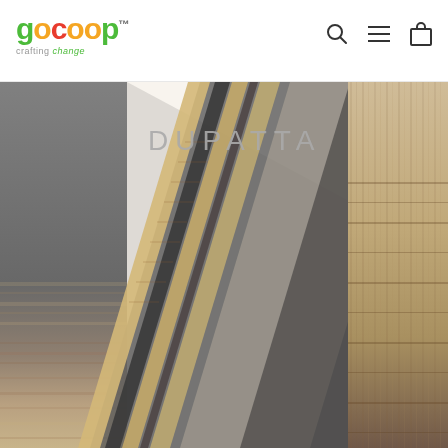[Figure (logo): GoCoop logo with colorful lettering and tagline 'crafting change']
[Figure (photo): Hero image showing a draped dupatta with dark charcoal fabric and decorative woven border in beige/gold. Text overlay reads DUPATTA.]
DUPATTA